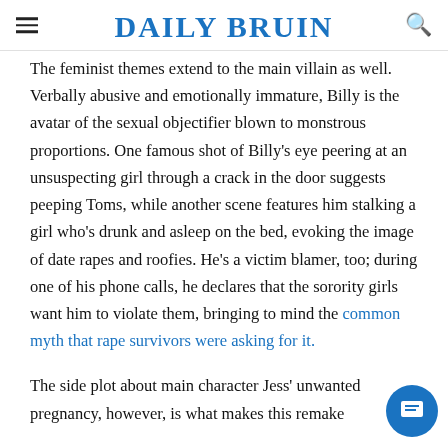DAILY BRUIN
The feminist themes extend to the main villain as well. Verbally abusive and emotionally immature, Billy is the avatar of the sexual objectifier blown to monstrous proportions. One famous shot of Billy's eye peering at an unsuspecting girl through a crack in the door suggests peeping Toms, while another scene features him stalking a girl who's drunk and asleep on the bed, evoking the image of date rapes and roofies. He's a victim blamer, too; during one of his phone calls, he declares that the sorority girls want him to violate them, bringing to mind the common myth that rape survivors were asking for it.
The side plot about main character Jess' unwanted pregnancy, however, is what makes this remake